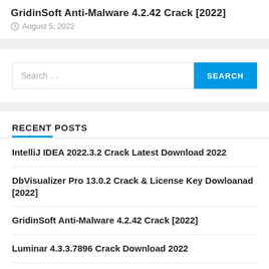GridinSoft Anti-Malware 4.2.42 Crack [2022]
August 5, 2022
Search …
RECENT POSTS
IntelliJ IDEA 2022.3.2 Crack Latest Download 2022
DbVisualizer Pro 13.0.2 Crack & License Key Dowloanad [2022]
GridinSoft Anti-Malware 4.2.42 Crack [2022]
Luminar 4.3.3.7896 Crack Download 2022
Adobe After Effects 22.6.0 Crack [2022]